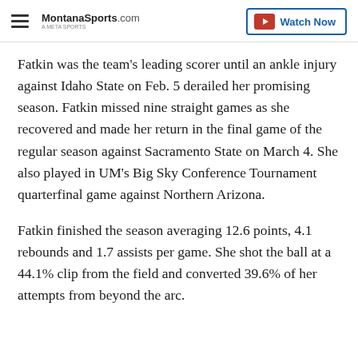MontanaSports.com | Watch Now
Fatkin was the team's leading scorer until an ankle injury against Idaho State on Feb. 5 derailed her promising season. Fatkin missed nine straight games as she recovered and made her return in the final game of the regular season against Sacramento State on March 4. She also played in UM's Big Sky Conference Tournament quarterfinal game against Northern Arizona.
Fatkin finished the season averaging 12.6 points, 4.1 rebounds and 1.7 assists per game. She shot the ball at a 44.1% clip from the field and converted 39.6% of her attempts from beyond the arc.